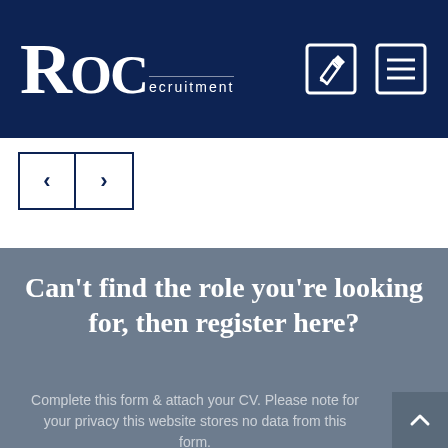ROC recruitment
[Figure (logo): ROC Recruitment logo - white text on dark navy blue background with large ROC letters and smaller 'ecruitment' text]
[Figure (other): Navigation icons - edit icon and menu/hamburger icon in white on navy background]
[Figure (other): Left and right navigation arrow buttons in dark navy outlined boxes]
Can't find the role you're looking for, then register here?
Complete this form & attach your CV. Please note for your privacy this website stores no data from this form.